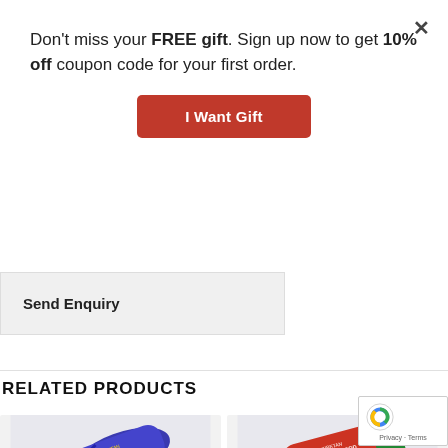Don't miss your FREE gift. Sign up now to get 10% off coupon code for your first order.
I Want Gift
Send Enquiry
RELATED PRODUCTS
[Figure (photo): Tibetan Nagchampa Incense product in a blue cylindrical container with yellow cap and blue incense sticks]
[Figure (photo): Tibetan Dragon's Blood Incense product in a red cylindrical container with green cap]